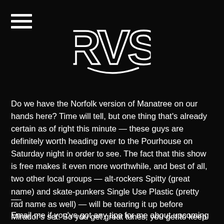RVS logo with hamburger menu
Do we have the Norfolk version of Manatree on our hands here? Time will tell, but one thing that's already certain as of right this minute — these guys are definitely worth heading over to the Pourhouse on Saturday night in order to see. The fact that this show is free makes it even more worthwhile, and best of all, two other local groups — alt-rockers Spitty (great name) and skate-punkers Single Use Plastic (pretty rad name as well) — will be tearing it up before Mirador's set. So you get great tunes, you get to keep all your money, and you get to engage in a firsthand exploration of the musical variety Norfolk has to offer. Sounds like a win-win all around!
—-
Email me if you've got any tips for me about upcoming